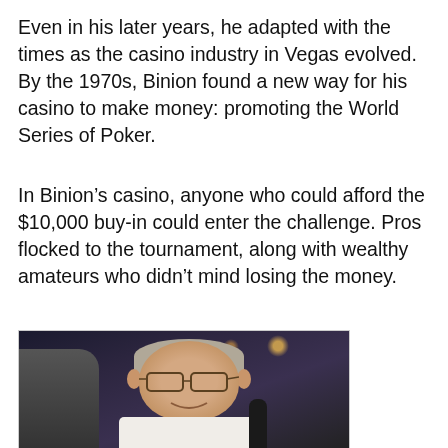Even in his later years, he adapted with the times as the casino industry in Vegas evolved. By the 1970s, Binion found a new way for his casino to make money: promoting the World Series of Poker.
In Binion’s casino, anyone who could afford the $10,000 buy-in could enter the challenge. Pros flocked to the tournament, along with wealthy amateurs who didn’t mind losing the money.
[Figure (photo): Photograph of an elderly man (Benny Binion) with gray hair, glasses, wearing a white shirt, smiling. Another person is partially visible on the left side. A microphone is visible at the bottom. Background is dark and blurred with bokeh lights.]